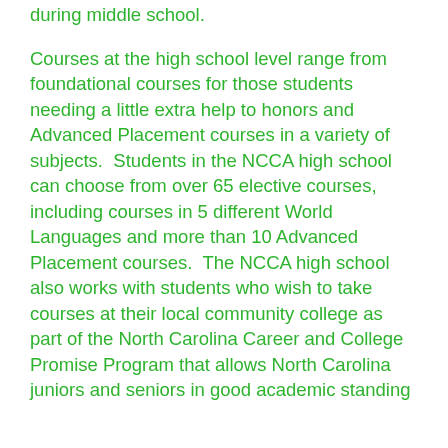during middle school.
Courses at the high school level range from foundational courses for those students needing a little extra help to honors and Advanced Placement courses in a variety of subjects.  Students in the NCCA high school can choose from over 65 elective courses, including courses in 5 different World Languages and more than 10 Advanced Placement courses.  The NCCA high school also works with students who wish to take courses at their local community college as part of the North Carolina Career and College Promise Program that allows North Carolina juniors and seniors in good academic standing